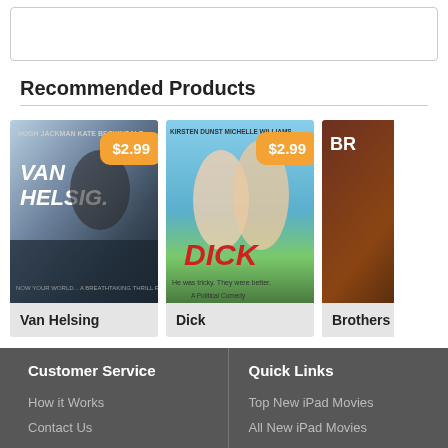[Figure (other): White input box at top of page]
Recommended Products
[Figure (other): Van Helsing movie poster with $2.99 price badge]
Van Helsing
[Figure (other): Dick movie poster with $2.99 price badge]
Dick
[Figure (other): Brothers movie poster, partially visible]
Brothers
Customer Service
How it Works
Contact Us
Privacy Notice
Quick Links
Top New iPad Movies
All New iPad Movies
Specials
All Products